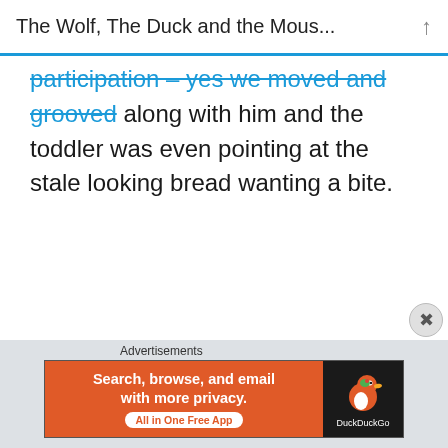The Wolf, The Duck and the Mous...
participation – yes we moved and grooved along with him and the toddler was even pointing at the stale looking bread wanting a bite.
[Figure (screenshot): DuckDuckGo advertisement banner: orange left panel with text 'Search, browse, and email with more privacy. All in One Free App' and dark right panel with DuckDuckGo duck logo and brand name.]
Advertisements